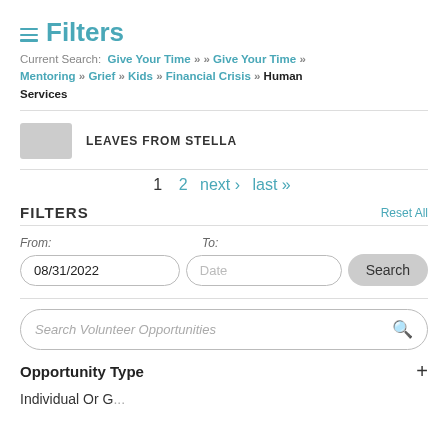≡ Filters
Current Search: Give Your Time » » Give Your Time » Mentoring » Grief » Kids » Financial Crisis » Human Services
LEAVES FROM STELLA
1  2  next›  last»
FILTERS  Reset All
From: 08/31/2022   To: Date   Search
Search Volunteer Opportunities
Opportunity Type +
Individual Or G...